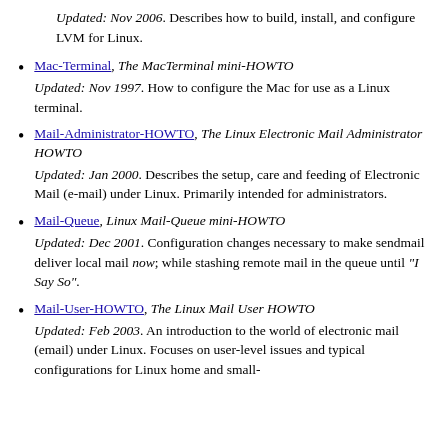Updated: Nov 2006. Describes how to build, install, and configure LVM for Linux.
Mac-Terminal, The MacTerminal mini-HOWTO
Updated: Nov 1997. How to configure the Mac for use as a Linux terminal.
Mail-Administrator-HOWTO, The Linux Electronic Mail Administrator HOWTO
Updated: Jan 2000. Describes the setup, care and feeding of Electronic Mail (e-mail) under Linux. Primarily intended for administrators.
Mail-Queue, Linux Mail-Queue mini-HOWTO
Updated: Dec 2001. Configuration changes necessary to make sendmail deliver local mail now; while stashing remote mail in the queue until "I Say So".
Mail-User-HOWTO, The Linux Mail User HOWTO
Updated: Feb 2003. An introduction to the world of electronic mail (email) under Linux. Focuses on user-level issues and typical configurations for Linux home and small-